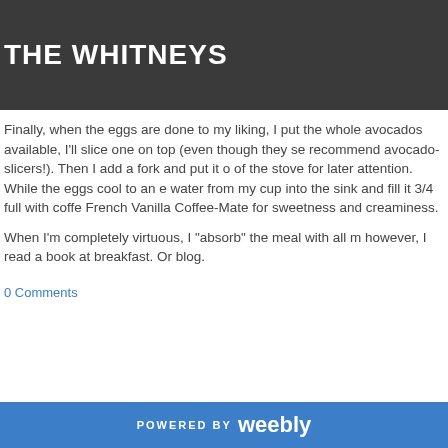THE WHITNEYS
Finally, when the eggs are done to my liking, I put the whole avocados available, I'll slice one on top (even though they se recommend avocado-slicers!). Then I add a fork and put it o of the stove for later attention. While the eggs cool to an e water from my cup into the sink and fill it 3/4 full with coffe French Vanilla Coffee-Mate for sweetness and creaminess.
When I'm completely virtuous, I "absorb" the meal with all m however, I read a book at breakfast. Or blog.
0 Comments